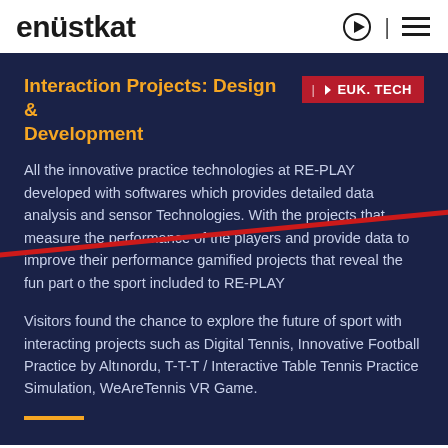enüstkat
Interaction Projects: Design & Development
EUK. TECH
All the innovative practice technologies at RE-PLAY developed with softwares which provides detailed data analysis and sensor Technologies. With the projects that measure the performance of the players and provide data to improve their performance gamified projects that reveal the fun part o the sport included to RE-PLAY
Visitors found the chance to explore the future of sport with interacting projects such as Digital Tennis, Innovative Football Practice by Altınordu, T-T-T / Interactive Table Tennis Practice Simulation, WeAreTennis VR Game.